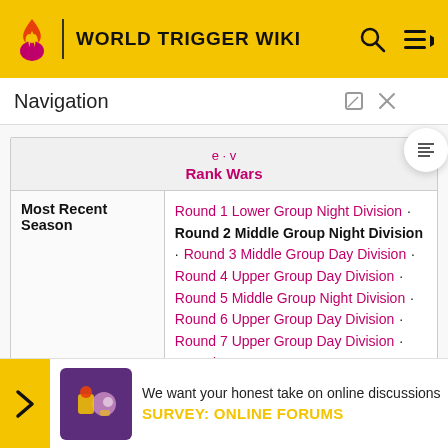WORLD TRIGGER WIKI
Navigation
| e - v Rank Wars |
| --- |
| Most Recent Season | Round 1 Lower Group Night Division · Round 2 Middle Group Night Division · Round 3 Middle Group Day Division · Round 4 Upper Group Day Division · Round 5 Middle Group Night Division · Round 6 Upper Group Day Division · Round 7 Upper Group Day Division · Round 8 Upper |
We want your honest take on discussions SURVEY: ONLINE FORUMS